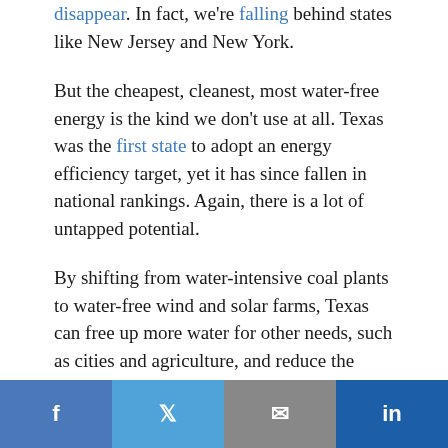disappear. In fact, we're falling behind states like New Jersey and New York.
But the cheapest, cleanest, most water-free energy is the kind we don't use at all. Texas was the first state to adopt an energy efficiency target, yet it has since fallen in national rankings. Again, there is a lot of untapped potential.
By shifting from water-intensive coal plants to water-free wind and solar farms, Texas can free up more water for other needs, such as cities and agriculture, and reduce the need for new,